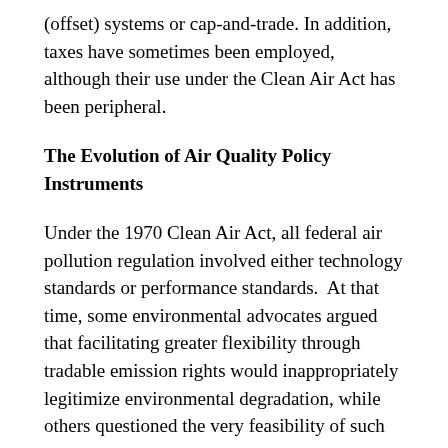(offset) systems or cap-and-trade. In addition, taxes have sometimes been employed, although their use under the Clean Air Act has been peripheral.
The Evolution of Air Quality Policy Instruments
Under the 1970 Clean Air Act, all federal air pollution regulation involved either technology standards or performance standards.  At that time, some environmental advocates argued that facilitating greater flexibility through tradable emission rights would inappropriately legitimize environmental degradation, while others questioned the very feasibility of such